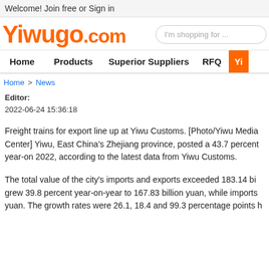Welcome! Join free or Sign in
Yiwugo.com
I'm shopping for ...
Home   Products   Superior Suppliers   RFQ   Yi
Home > News
Editor:
2022-06-24 15:36:18
Freight trains for export line up at Yiwu Customs. [Photo/Yiwu Media Center] Yiwu, East China's Zhejiang province, posted a 43.7 percent year-on 2022, according to the latest data from Yiwu Customs.
The total value of the city's imports and exports exceeded 183.14 bi grew 39.8 percent year-on-year to 167.83 billion yuan, while imports yuan. The growth rates were 26.1, 18.4 and 99.3 percentage points h